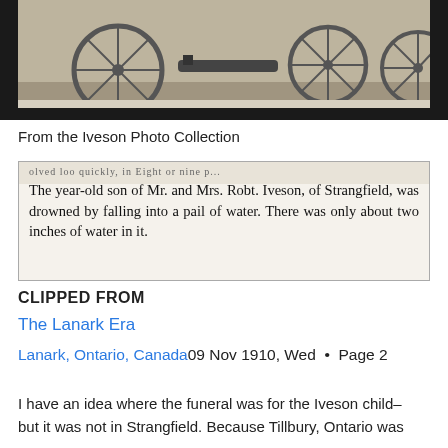[Figure (photo): Black and white historical photograph showing wagon wheels against a light background, partially cropped, set against a dark black border/mat]
From the Iveson Photo Collection
[Figure (screenshot): Newspaper clipping with partially visible top line and readable text: 'The year-old son of Mr. and Mrs. Robt. Iveson, of Strangfield, was drowned by falling into a pail of water. There was only about two inches of water in it.']
CLIPPED FROM
The Lanark Era
Lanark, Ontario, Canada09 Nov 1910, Wed  •  Page 2
I have an idea where the funeral was for the Iveson child– but it was not in Strangfield. Because Tillbury, Ontario was